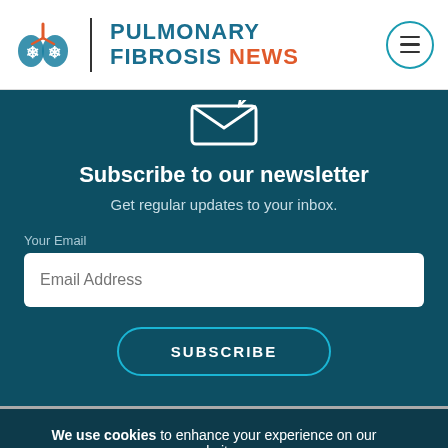[Figure (logo): Pulmonary Fibrosis News logo with lungs icon, vertical divider, and site name in teal/orange]
[Figure (illustration): Paper airplane / envelope icon in outline style, white on teal background]
Subscribe to our newsletter
Get regular updates to your inbox.
Your Email
Email Address
SUBSCRIBE
We use cookies to enhance your experience on our website.
Privacy Policy
ACCEPT